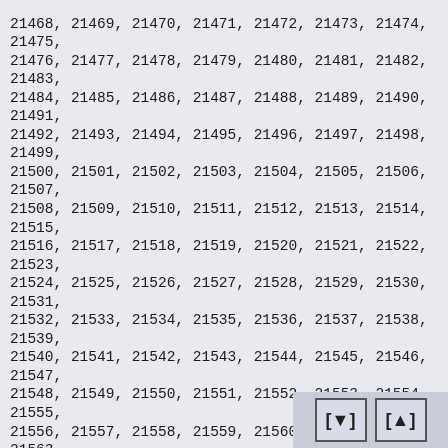21468, 21469, 21470, 21471, 21472, 21473, 21474, 21475, 21476, 21477, 21478, 21479, 21480, 21481, 21482, 21483, 21484, 21485, 21486, 21487, 21488, 21489, 21490, 21491, 21492, 21493, 21494, 21495, 21496, 21497, 21498, 21499, 21500, 21501, 21502, 21503, 21504, 21505, 21506, 21507, 21508, 21509, 21510, 21511, 21512, 21513, 21514, 21515, 21516, 21517, 21518, 21519, 21520, 21521, 21522, 21523, 21524, 21525, 21526, 21527, 21528, 21529, 21530, 21531, 21532, 21533, 21534, 21535, 21536, 21537, 21538, 21539, 21540, 21541, 21542, 21543, 21544, 21545, 21546, 21547, 21548, 21549, 21550, 21551, 21552, 21553, 21554, 21555, 21556, 21557, 21558, 21559, 21560, 21561, 21562, 21563, 21564, 21565, 21566, 21567, 21568, 21569, 21570, 21571, 21572, 21573, 21574, 21575, 21576, 21577, 21578, 21579, 21580, 21581, 21582, 21583, 21584, 21585, 21586, 21587, 21588, 21589, 21590, 21591, 21592, 21593, 21594, 21595, 21596, 21597, 21598, 21599, 21600, 21601, 21602, 21603, 21604, 21605, 21606, 21607, 21608, 21609, 21610, 21611, 21612, 21613, 21614, 21615, 21616, 21617, 21618, 21619, 21620, 21621, 21622, 21623, 21624, 21625, 21626, 21627, 21628, 21629, 21630, 21631, 21632, 21633, 21634, 21635, 21636, 21637, 21638, 21639, 21640, 21641, 21642, 21643, 21644, 21645, 21646, 21647, 21648, 21649, 21650, 21651, 21652, 21653, 21654, 21655, 21656, 21657, 21658, 21659, 21660, 21661, 21662, 21663, 21664, 21665, 21666, 21667, 21668, 21669, 21670, 21671, 21672, 21673, 21674, 21675, 21676, 21677, 21678, 21679, 21680, 21681, 2168, 21684, 21685, 21686, 21687, 21688, 21689, 2169, 21692, 21693, 21694, 21695, 21696, 21697, 2169, 21701 from board /rapport/ [global] => [cache] =>